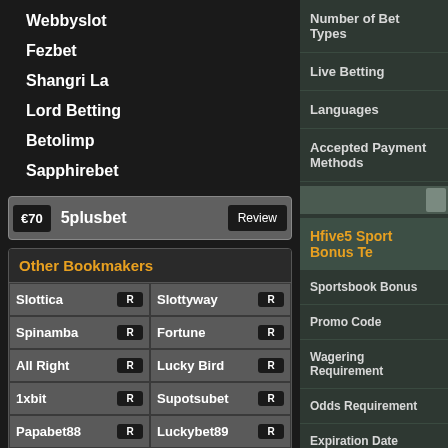Webbyslot
Fezbet
Shangri La
Lord Betting
Betolimp
Sapphirebet
€70  5plusbet  Review
Other Bookmakers
| Col1 | Col2 |
| --- | --- |
| Slottica R | Slottyway R |
| Spinamba R | Fortune R |
| All Right R | Lucky Bird R |
| 1xbit R | Supotsubet R |
| Papabet88 R | Luckybet89 R |
| Webet R | Ligahokie R |
| Category |
| --- |
| Number of Bet Types |
| Live Betting |
| Languages |
| Accepted Payment Methods |
Hfive5 Sport Bonus Te
| Bonus Category |
| --- |
| Sportsbook Bonus |
| Promo Code |
| Wagering Requirement |
| Odds Requirement |
| Expiration Date |